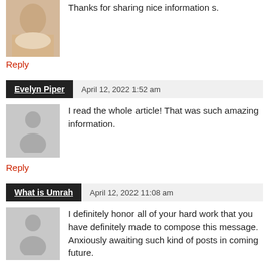[Figure (photo): Profile photo of a woman in a fur coat]
Thanks for sharing nice information s.
Reply
Evelyn Piper   April 12, 2022 1:52 am
[Figure (illustration): Generic user avatar placeholder (gray silhouette)]
I read the whole article! That was such amazing information.
Reply
What is Umrah   April 12, 2022 11:08 am
[Figure (illustration): Generic user avatar placeholder (gray silhouette)]
I definitely honor all of your hard work that you have definitely made to compose this message. Anxiously awaiting such kind of posts in coming future.